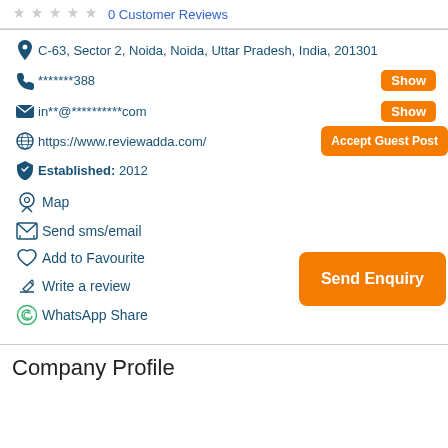0 Customer Reviews
C-63, Sector 2, Noida, Noida, Uttar Pradesh, India, 201301
*******388  Show
in**@**********com  Show
https://www.reviewadda.com/
Accept Guest Post
Established: 2012
Map
Send sms/email
Add to Favourite
Write a review
WhatsApp Share
Send Enquiry
Company Profile